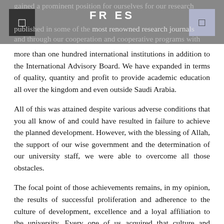FR ES
gained a prominent position for ourselves for our research published in some of the most renowned research journals and through our cooperation and cooperative programs with more than one hundred international institutions in addition to the International Advisory Board. We have expanded in terms of quality, quantity and profit to provide academic education all over the kingdom and even outside Saudi Arabia.
All of this was attained despite various adverse conditions that you all know of and could have resulted in failure to achieve the planned development. However, with the blessing of Allah, the support of our wise government and the determination of our university staff, we were able to overcome all those obstacles.
The focal point of those achievements remains, in my opinion, the results of successful proliferation and adherence to the culture of development, excellence and a loyal affiliation to the university. Every one of us acquired that culture and became a devoted practitioner of its principles until this university savored successive achievements within the implementation of the first university strategic plan, scoring a 78% attainment ratio which is quite an achievement of strategic planning by international standards.